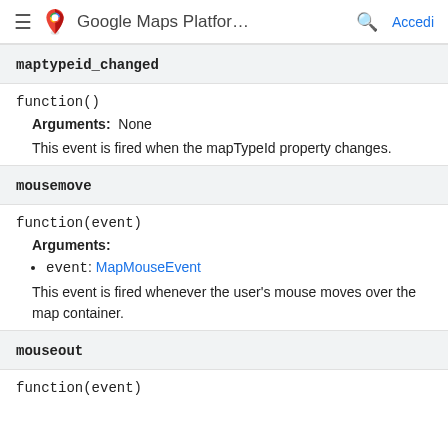Google Maps Platfor... Accedi
maptypeid_changed
function()
Arguments: None
This event is fired when the mapTypeId property changes.
mousemove
function(event)
Arguments:
event: MapMouseEvent
This event is fired whenever the user's mouse moves over the map container.
mouseout
function(event)